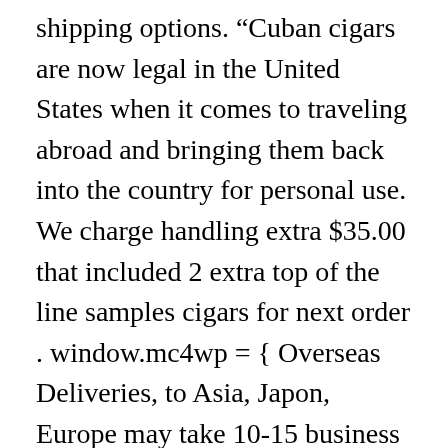shipping options. “Cuban cigars are now legal in the United States when it comes to traveling abroad and bringing them back into the country for personal use. We charge handling extra $35.00 that included 2 extra top of the line samples cigars for next order . window.mc4wp = { Overseas Deliveries, to Asia, Japon, Europe may take 10-15 business days. Our online Cuban Cigars shop has been selling an extensive range of Cuban Cigars, Cohiba, Hoyo de Monterrey, Romeo y Julieta, Montecristo, Partagas, Punch, Bolivar, H Upmann ... } ! WE SHIP WORLDWIDE, DELIVERY 100% GUARANTEED!!! Since 1998, CigarOne is one of the most trusted and